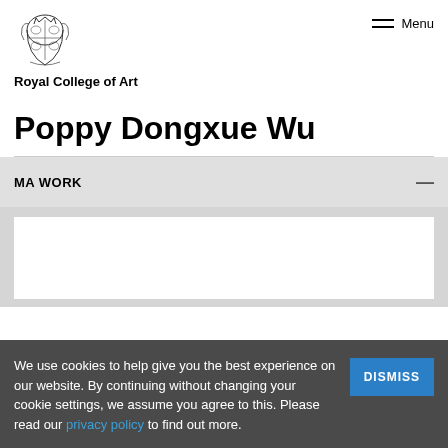[Figure (logo): Royal College of Art heraldic crest/coat of arms in black and white]
Royal College of Art
Poppy Dongxue Wu
MA WORK
We use cookies to help give you the best experience on our website. By continuing without changing your cookie settings, we assume you agree to this. Please read our privacy policy to find out more.